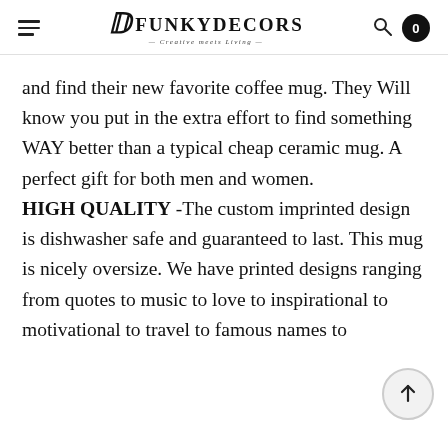FunkyDecors — Creative meets Living
and find their new favorite coffee mug. They Will know you put in the extra effort to find something WAY better than a typical cheap ceramic mug. A perfect gift for both men and women. HIGH QUALITY -The custom imprinted design is dishwasher safe and guaranteed to last. This mug is nicely oversize. We have printed designs ranging from quotes to music to love to inspirational to motivational to travel to famous names to